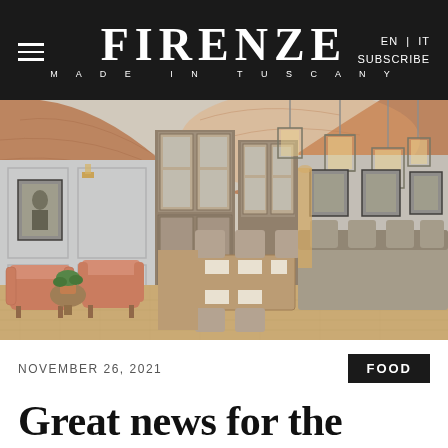FIRENZE MADE IN TUSCANY | EN | IT | SUBSCRIBE
[Figure (photo): Interior of Borro Tuscan Bistro restaurant with terracotta brick arched ceiling, pendant lantern lights, grey panelled walls, display cabinets, salmon/terracotta upholstered armchairs, wooden dining tables and chairs set with white napkins, herringbone wood floor.]
NOVEMBER 26, 2021
FOOD
Great news for the Borro Tuscan Bistro